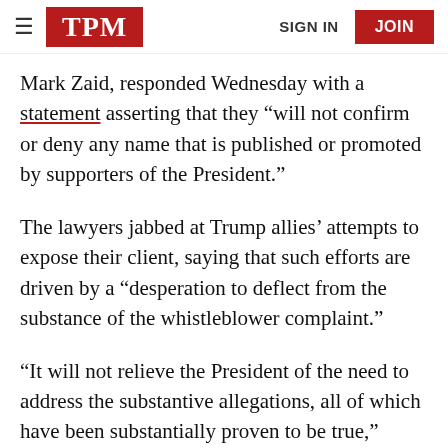TPM | SIGN IN | JOIN
Mark Zaid, responded Wednesday with a statement asserting that they “will not confirm or deny any name that is published or promoted by supporters of the President.”
The lawyers jabbed at Trump allies’ attempts to expose their client, saying that such efforts are driven by a “desperation to deflect from the substance of the whistleblower complaint.”
“It will not relieve the President of the need to address the substantive allegations, all of which have been substantially proven to be true,” Bakaj and Zaid said.